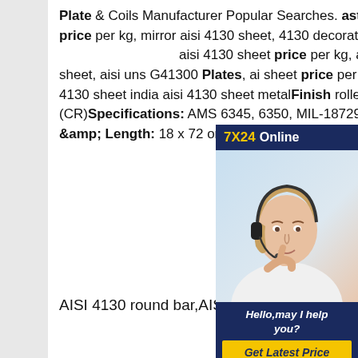Plate & Coils Manufacturer Popular Searches. astm 4130 kitchen cabinet aisi plate price per kg, mirror aisi 4130 sheet, 4130 decorative emboaisiing aisi aisi 4130 sheet price per kg, asm aisi plate price per kg, aisi 4130 sheet, aisi uns G41300 Plates, ai sheet price per kg in india, aisi w nr. 1.7218 Sheet, aisi 4130 sheet india aisi 4130 sheet metalFinish rolled plate (HR), Cold rolled she (CR)Specifications: AMS 6345, 6350, MIL-18729, ASTM-A-505Si 0.020~2.00Width & Length: 18 x 72 or 36 x 72
[Figure (other): Customer service representative ad with headset. Header: 7X24 Online. Footer: Hello,may I help you? Get Latest Price button.]
AISI 4130 round bar,AISI 4130 forging,AISI 4130 sheet,AISI